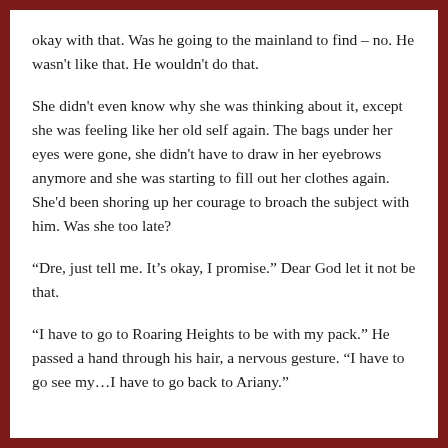okay with that. Was he going to the mainland to find – no. He wasn't like that. He wouldn't do that.
She didn't even know why she was thinking about it, except she was feeling like her old self again. The bags under her eyes were gone, she didn't have to draw in her eyebrows anymore and she was starting to fill out her clothes again. She'd been shoring up her courage to broach the subject with him. Was she too late?
“Dre, just tell me. It’s okay, I promise.” Dear God let it not be that.
“I have to go to Roaring Heights to be with my pack.” He passed a hand through his hair, a nervous gesture. “I have to go see my…I have to go back to Ariany.”